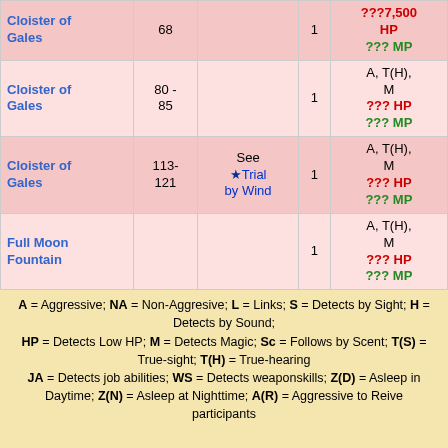| Location | Level | Notes | Qty | Stats |
| --- | --- | --- | --- | --- |
| Cloister of Gales | 68 |  | 1 | ???7,500 HP
??? MP |
| Cloister of Gales | 80-85 |  | 1 | A, T(H), M
??? HP
??? MP |
| Cloister of Gales | 113-121 | See ★Trial by Wind | 1 | A, T(H), M
??? HP
??? MP |
| Full Moon Fountain |  |  | 1 | A, T(H), M
??? HP
??? MP |
A = Aggressive; NA = Non-Aggresive; L = Links; S = Detects by Sight; H = Detects by Sound; HP = Detects Low HP; M = Detects Magic; Sc = Follows by Scent; T(S) = True-sight; T(H) = True-hearing JA = Detects job abilities; WS = Detects weaponskills; Z(D) = Asleep in Daytime; Z(N) = Asleep at Nighttime; A(R) = Aggressive to Reive participants